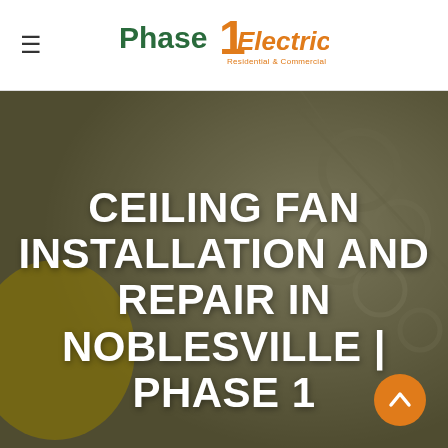[Figure (logo): Phase 1 Electric logo — 'Phase' in dark teal/green, large orange '1', 'Electric' in orange italic, tagline 'Residential & Commercial Services' in orange below]
CEILING FAN INSTALLATION AND REPAIR IN NOBLESVILLE | PHASE 1
[Figure (photo): Background photo of electrical wiring and conduit, blurred, with yellow hard hat visible on left side, dark olive/khaki overlay]